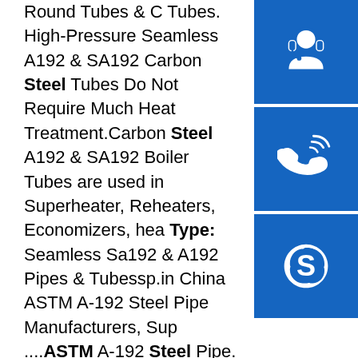Round Tubes & C Tubes. High-Pressure Seamless A192 & SA192 Carbon Steel Tubes Do Not Require Much Heat Treatment.Carbon Steel A192 & SA192 Boiler Tubes are used in Superheater, Reheaters, Economizers, hea Type: Seamless Sa192 & A192 Pipes & Tubessp.in China ASTM A-192 Steel Pipe Manufacturers, Sup ...ASTM A-192 Steel Pipe. ASTM A192 Steel Pipe A192 covers minimum-wall-thickness, seamless ca steel boiler, and superheater tubes for high-pressu service.The pipe sizes and thicknesses usually furn to this specification are 1/2 in. to 7 in(12.7 to …sp.i ASTM A192 PDF - United PDF ComunicationSep 1 2019 · Mark on the tubes. ASTM A192 Carbon Steel Tube. No heat treatment after the last cold-forming process. Referenced Documents purchase separately The documents listed below are referenced within the subject standard but are not provided as part of the standard.sp.info Asme SA 192 tube,Astm a192 Boiler Tubes ... - Neelcon SteelAstm A192 Boiler Tube. ASTM
[Figure (infographic): Three blue square icons stacked vertically on the right side: headset/customer support icon, phone/call icon, and Skype icon]